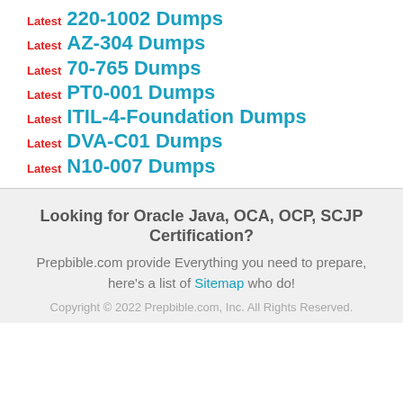Latest 220-1002 Dumps
Latest AZ-304 Dumps
Latest 70-765 Dumps
Latest PT0-001 Dumps
Latest ITIL-4-Foundation Dumps
Latest DVA-C01 Dumps
Latest N10-007 Dumps
Looking for Oracle Java, OCA, OCP, SCJP Certification?
Prepbible.com provide Everything you need to prepare, here's a list of Sitemap who do!
Copyright © 2022 Prepbible.com, Inc. All Rights Reserved.